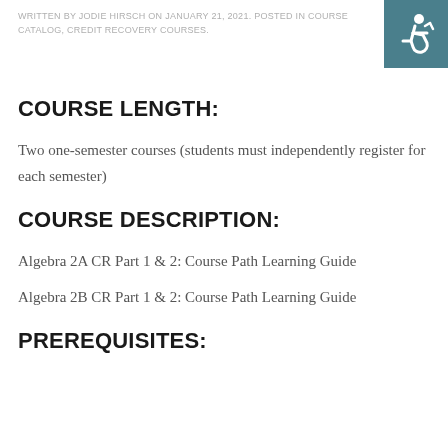WRITTEN BY JODIE HIRSCH ON JANUARY 21, 2021. POSTED IN COURSE CATALOG, CREDIT RECOVERY COURSES.
COURSE LENGTH:
Two one-semester courses (students must independently register for each semester)
COURSE DESCRIPTION:
Algebra 2A CR Part 1 & 2: Course Path Learning Guide
Algebra 2B CR Part 1 & 2: Course Path Learning Guide
PREREQUISITES: